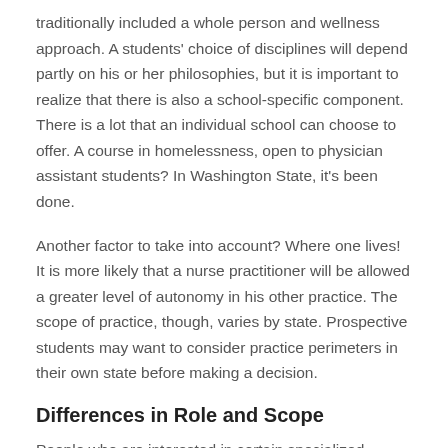traditionally included a whole person and wellness approach. A students' choice of disciplines will depend partly on his or her philosophies, but it is important to realize that there is also a school-specific component. There is a lot that an individual school can choose to offer. A course in homelessness, open to physician assistant students? In Washington State, it's been done.
Another factor to take into account? Where one lives! It is more likely that a nurse practitioner will be allowed a greater level of autonomy in his other practice. The scope of practice, though, varies by state. Prospective students may want to consider practice perimeters in their own state before making a decision.
Differences in Role and Scope
People who are interested in certain specialized practice